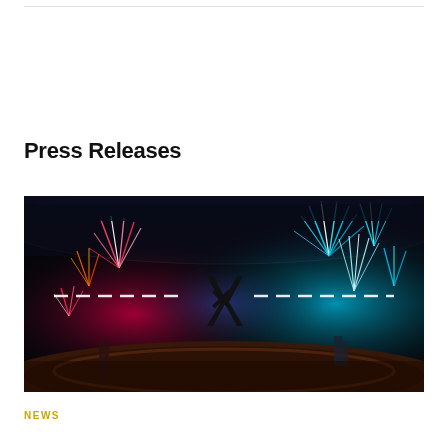Press Releases
[Figure (photo): Wide aerial view of a stadium at night with colorful fireworks — red/pink on the left, cyan/blue on the right — dirt motocross track visible, a dashed white line and an 'X' logo overlay in the center, large crowd in the stands.]
NEWS